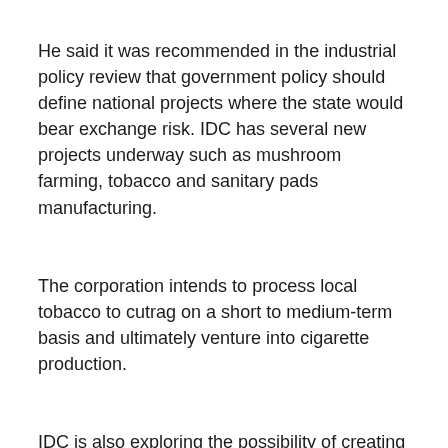He said it was recommended in the industrial policy review that government policy should define national projects where the state would bear exchange risk. IDC has several new projects underway such as mushroom farming, tobacco and sanitary pads manufacturing.
The corporation intends to process local tobacco to cutrag on a short to medium-term basis and ultimately venture into cigarette production.
IDC is also exploring the possibility of creating a new local cigarette brand.
The corporation recently registered a strategic business unit,